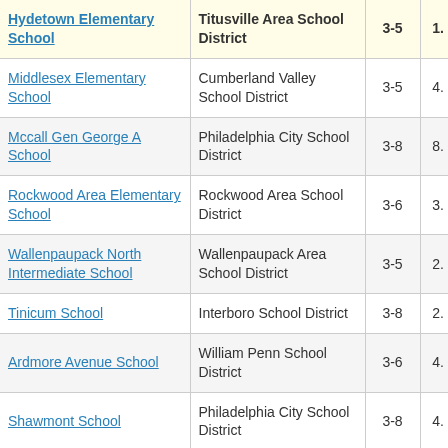| School | District | Grades | Value |
| --- | --- | --- | --- |
| Hydetown Elementary School | Titusville Area School District | 3-5 | 1. |
| Middlesex Elementary School | Cumberland Valley School District | 3-5 | 4. |
| Mccall Gen George A School | Philadelphia City School District | 3-8 | 8. |
| Rockwood Area Elementary School | Rockwood Area School District | 3-6 | 3. |
| Wallenpaupack North Intermediate School | Wallenpaupack Area School District | 3-5 | 2. |
| Tinicum School | Interboro School District | 3-8 | 2. |
| Ardmore Avenue School | William Penn School District | 3-6 | 4. |
| Shawmont School | Philadelphia City School District | 3-8 | 4. |